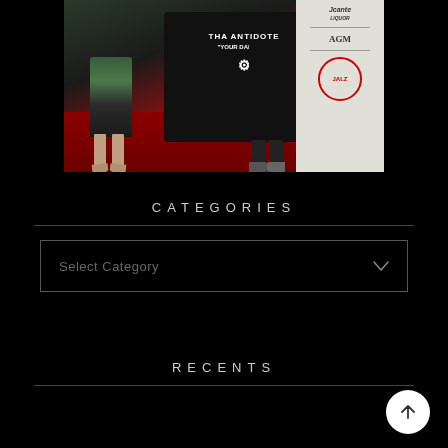[Figure (photo): Two people standing on a red carpet event. One person is holding up a black sweatshirt that reads 'THA ANTIDOTE YOUR DAILY FIX'. The background shows various sponsor logos and banners. The person on the left is wearing high heels.]
CATEGORIES
Select Category
RECENTS